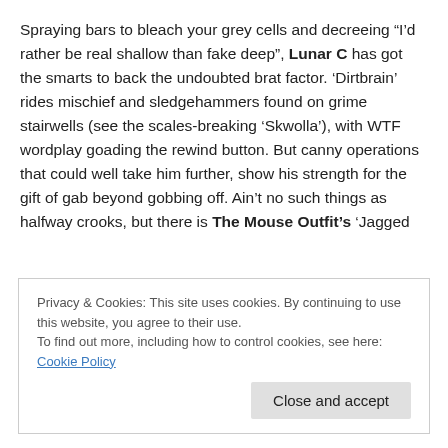Spraying bars to bleach your grey cells and decreeing “I’d rather be real shallow than fake deep”, Lunar C has got the smarts to back the undoubted brat factor. ‘Dirtbrain’ rides mischief and sledgehammers found on grime stairwells (see the scales-breaking ‘Skwolla’), with WTF wordplay goading the rewind button. But canny operations that could well take him further, show his strength for the gift of gab beyond gobbing off. Ain’t no such things as halfway crooks, but there is The Mouse Outfit’s ‘Jagged
Privacy & Cookies: This site uses cookies. By continuing to use this website, you agree to their use.
To find out more, including how to control cookies, see here: Cookie Policy